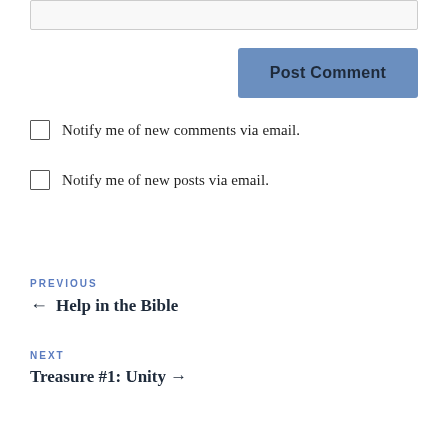[Figure (screenshot): Input text field (partially visible, top of page)]
Post Comment
Notify me of new comments via email.
Notify me of new posts via email.
PREVIOUS
← Help in the Bible
NEXT
Treasure #1: Unity →